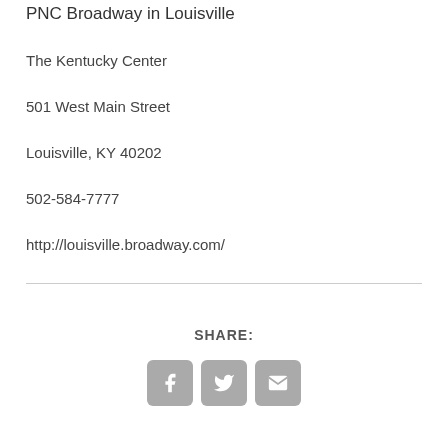PNC Broadway in Louisville
The Kentucky Center
501 West Main Street
Louisville, KY 40202
502-584-7777
http://louisville.broadway.com/
SHARE: